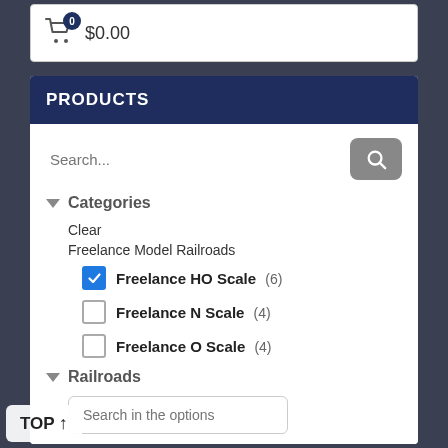[Figure (screenshot): Shopping cart icon with badge showing 0 items and $0.00 total amount]
PRODUCTS
Search...
Categories
Clear
Freelance Model Railroads
Freelance HO Scale (6) [checked]
Freelance N Scale (4)
Freelance O Scale (4)
Railroads
Search in the options
TOP ↑